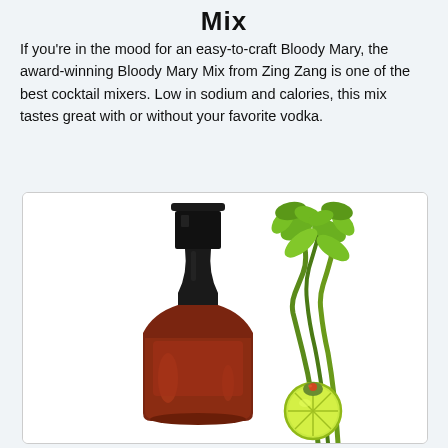Mix
If you're in the mood for an easy-to-craft Bloody Mary, the award-winning Bloody Mary Mix from Zing Zang is one of the best cocktail mixers. Low in sodium and calories, this mix tastes great with or without your favorite vodka.
[Figure (photo): A bottle of Zing Zang Bloody Mary Mix (dark bottle with black cap) on the left, and a garnish of celery stalks with a lime slice and olive on the right, against a white background inside a light-bordered box.]